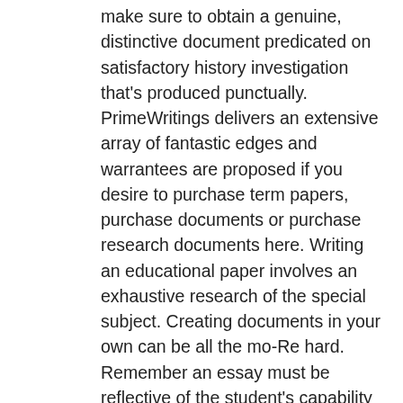make sure to obtain a genuine, distinctive document predicated on satisfactory history investigation that's produced punctually. PrimeWritings delivers an extensive array of fantastic edges and warrantees are proposed if you desire to purchase term papers, purchase documents or purchase research documents here. Writing an educational paper involves an exhaustive research of the special subject. Creating documents in your own can be all the mo-Re hard. Remember an essay must be reflective of the student's capability to think critically. Schools expect students to perform faculty essays, which are usually thought to calculate the student's ability to